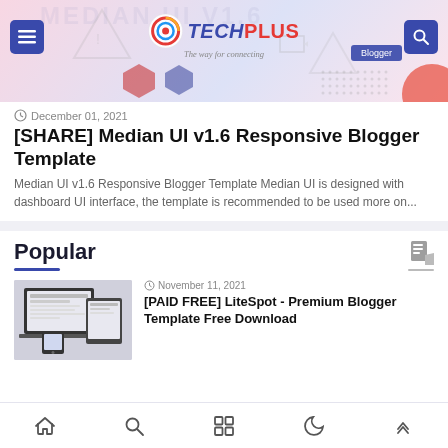[Figure (screenshot): TechPlus website header/banner with logo, menu button, search button, and Median UI v1.6 Blogger template promotional image with pink and blue geometric shapes]
December 01, 2021
[SHARE] Median UI v1.6 Responsive Blogger Template
Median UI v1.6 Responsive Blogger Template Median UI is designed with dashboard UI interface, the template is recommended to be used more on...
Popular
[Figure (screenshot): Thumbnail showing LiteSpot Premium Blogger Template on laptop and mobile devices]
November 11, 2021
[PAID FREE] LiteSpot - Premium Blogger Template Free Download
Navigation bar with home, search, grid, moon, and up-arrow icons